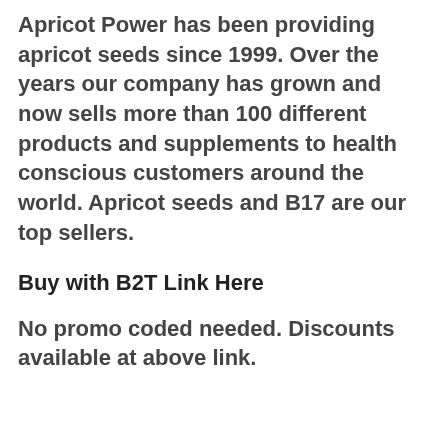Apricot Power has been providing apricot seeds since 1999. Over the years our company has grown and now sells more than 100 different products and supplements to health conscious customers around the world. Apricot seeds and B17 are our top sellers.
Buy with B2T Link Here
No promo coded needed. Discounts available at above link.
Cardiovascular Health: Cardio Miracle